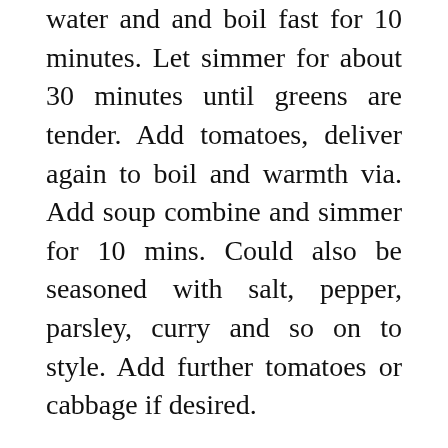water and and boil fast for 10 minutes. Let simmer for about 30 minutes until greens are tender. Add tomatoes, deliver again to boil and warmth via. Add soup combine and simmer for 10 mins. Could also be seasoned with salt, pepper, parsley, curry and so on to style. Add further tomatoes or cabbage if desired.
Penny Rosina is a Licensed Transformation Coach, in addition to a printed author, photographer, Reiki Master and former healthcare systems marketing